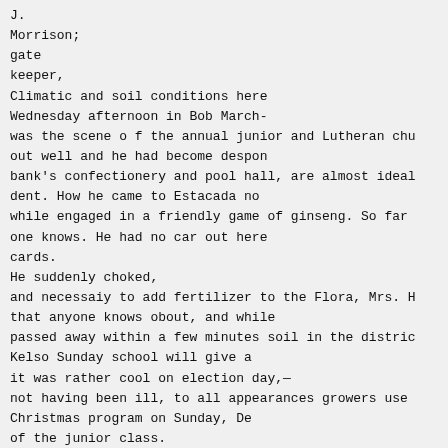J.
Morrison;
gate
keeper,
Climatic and soil conditions here
Wednesday afternoon in Bob March-
was the scene o f the annual junior and Lutheran chu
out well and he had become despon
bank's confectionery and pool hall, are almost ideal
dent. How he came to Estacada no
while engaged in a friendly game of ginseng. So far
one knows. He had no car out here
cards.
He suddenly choked,
and necessaiy to add fertilizer to the Flora, Mrs. H
that anyone knows obout, and while
passed away within a few minutes soil in the distric
Kelso Sunday school will give a
it was rather cool on election day,—
not having been ill, to all appearances growers use
Christmas program on Sunday, De
of the junior class.
the day he is supposed to have been
until with a few minutes of his death. dust, and the
drouned. he had no overcoat, or ot